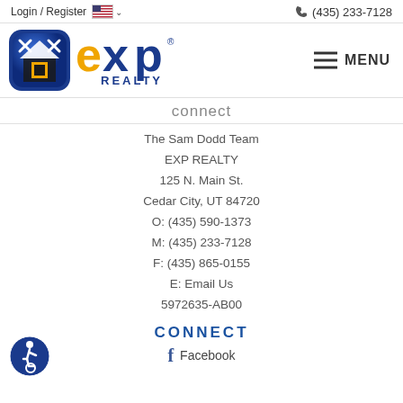Login / Register  🇺🇸 ∨   📞 (435) 233-7128
[Figure (logo): EXP Realty logo with blue square icon and orange/blue 'exp REALTY' text, plus hamburger MENU button on right]
connect (partial heading visible)
The Sam Dodd Team
EXP REALTY
125 N. Main St.
Cedar City, UT 84720
O: (435) 590-1373
M: (435) 233-7128
F: (435) 865-0155
E: Email Us
5972635-AB00
CONNECT
f  Facebook
[Figure (logo): Accessibility icon — blue circle with wheelchair user symbol]